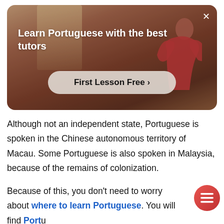[Figure (photo): Advertisement banner with photo of a person in a red shirt with arms raised, dark warm-toned background. Text overlay reads 'Learn Portuguese with the best tutors' and a 'First Lesson Free >' call-to-action button. An X close button is in the top right.]
Although not an independent state, Portuguese is spoken in the Chinese autonomous territory of Macau. Some Portuguese is also spoken in Malaysia, because of the remains of colonization.
Because of this, you don't need to worry about where to learn Portuguese. You will find Portuguese classes across the world to start you on your way.